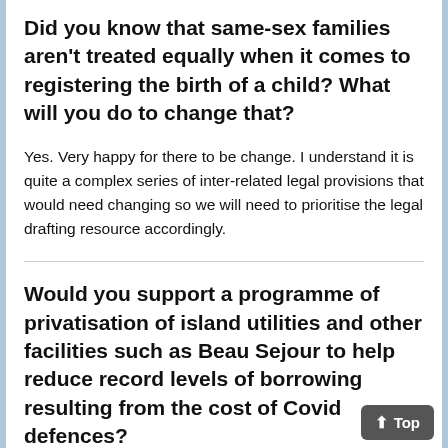Did you know that same-sex families aren't treated equally when it comes to registering the birth of a child? What will you do to change that?
Yes. Very happy for there to be change. I understand it is quite a complex series of inter-related legal provisions that would need changing so we will need to prioritise the legal drafting resource accordingly.
Would you support a programme of privatisation of island utilities and other facilities such as Beau Sejour to help reduce record levels of borrowing resulting from the cost of Covid defences?
Beau Sejour. I don't think it would b...